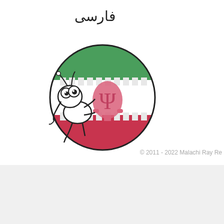[Figure (illustration): Cartoon bug character (Itchy) running in front of the Iranian flag circle, with Farsi text label above]
© 2011 - 2022 Malachi Ray Re
Here are some more Itchy
[Figure (illustration): Comic panel with teal background showing handwritten text: 'So that squiggly has a dot, and this one has three... is that the same word??' with Arabic/Farsi script symbols in a box below]
[Figure (illustration): Comic panel with tan/peach background, label BRATWU at top, showing what appears to be a bratwurst]